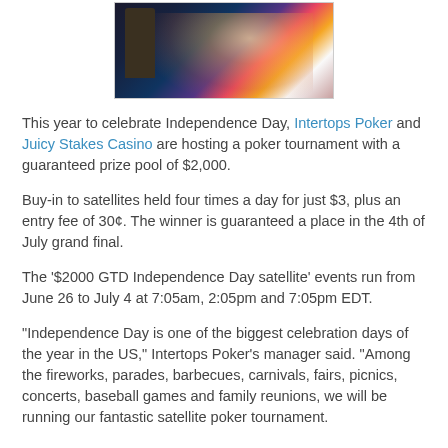[Figure (photo): Fireworks and illuminated tower/castle silhouette against a dark sky with light streaks]
This year to celebrate Independence Day, Intertops Poker and Juicy Stakes Casino are hosting a poker tournament with a guaranteed prize pool of $2,000.
Buy-in to satellites held four times a day for just $3, plus an entry fee of 30¢. The winner is guaranteed a place in the 4th of July grand final.
The '$2000 GTD Independence Day satellite' events run from June 26 to July 4 at 7:05am, 2:05pm and 7:05pm EDT.
"Independence Day is one of the biggest celebration days of the year in the US," Intertops Poker's manager said. "Among the fireworks, parades, barbecues, carnivals, fairs, picnics, concerts, baseball games and family reunions, we will be running our fantastic satellite poker tournament.